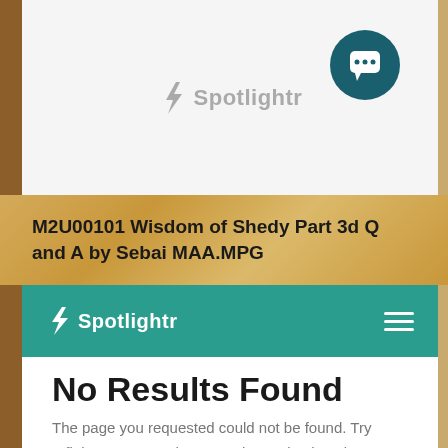[Figure (logo): Spotlightr logo in gray with lightning bolt icon, in top white header bar]
[Figure (illustration): Dark teal circular chat button with white chat bubble icon, top right of header]
M2U00101 Wisdom of Shedy Part 3d Q and A by Sebai MAA.MPG
Spotlightr navigation bar with hamburger menu
No Results Found
The page you requested could not be found. Try refining your search, or use the navigation above to locate the post.